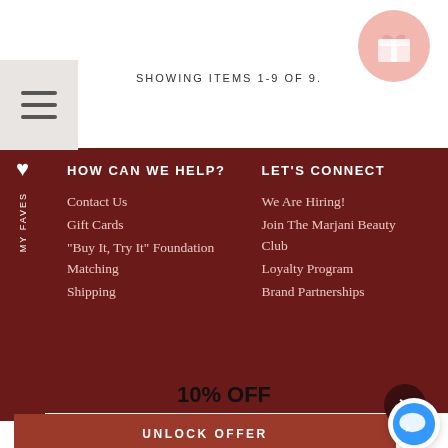SHOWING ITEMS 1-9 OF 9.
HOW CAN WE HELP?
LET'S CONNECT
Contact Us
Gift Cards
"Buy It, Try It" Foundation Matching
Shipping
We Are Hiring!
Join The Marjani Beauty Club
Loyalty Program
Brand Partnerships
MY FAVES
10% OFF
UNLOCK OFFER